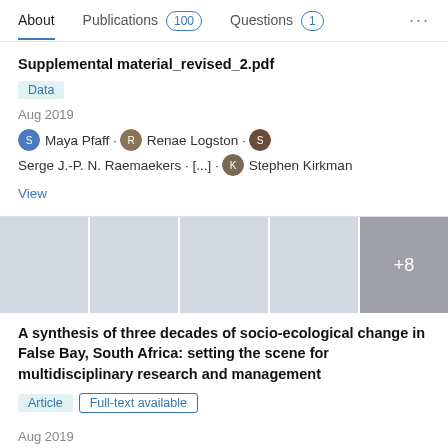About | Publications 100 | Questions 1 | ...
Supplemental material_revised_2.pdf
Data
Aug 2019
Maya Pfaff · Renae Logston · Serge J.-P. N. Raemaekers · [...] · Stephen Kirkman
View
[Figure (photo): Five thumbnail image placeholders, last showing +8]
A synthesis of three decades of socio-ecological change in False Bay, South Africa: setting the scene for multidisciplinary research and management
Article  Full-text available
Aug 2019